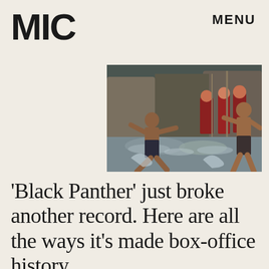MIC   MENU
[Figure (photo): Scene from Black Panther movie showing warriors fighting in water, with shirtless men in combat poses, and figures in red costumes in the background]
'Black Panther' just broke another record. Here are all the ways it's made box-office history.